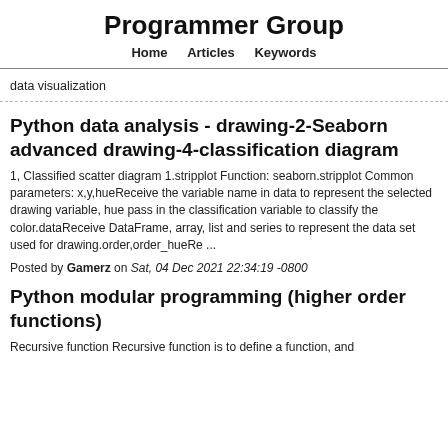Programmer Group
Home   Articles   Keywords
data visualization
Python data analysis - drawing-2-Seaborn advanced drawing-4-classification diagram
1, Classified scatter diagram 1.stripplot Function: seaborn.stripplot Common parameters: x,y,hueReceive the variable name in data to represent the selected drawing variable, hue pass in the classification variable to classify the color.dataReceive DataFrame, array, list and series to represent the data set used for drawing.order,order_hueRe ...
Posted by Gamerz on Sat, 04 Dec 2021 22:34:19 -0800
Python modular programming (higher order functions)
Recursive function Recursive function is to define a function, and